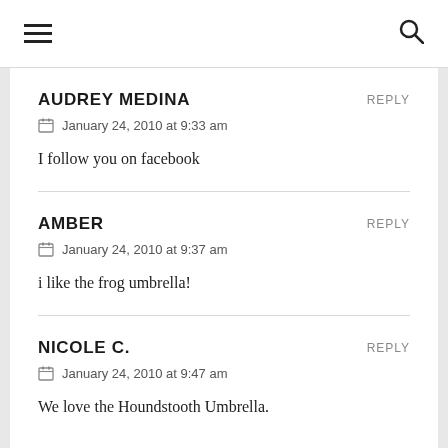☰  🔍
AUDREY MEDINA
REPLY
January 24, 2010 at 9:33 am
I follow you on facebook
AMBER
REPLY
January 24, 2010 at 9:37 am
i like the frog umbrella!
NICOLE C.
REPLY
January 24, 2010 at 9:47 am
We love the Houndstooth Umbrella.